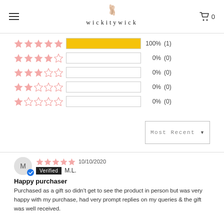wickitywick
[Figure (bar-chart): Rating distribution]
Most Recent ▼
10/10/2020  Verified  M.L.
Happy purchaser
Purchased as a gift so didn't get to see the product in person but was very happy with my purchase, had very prompt replies on my queries & the gift was well received.